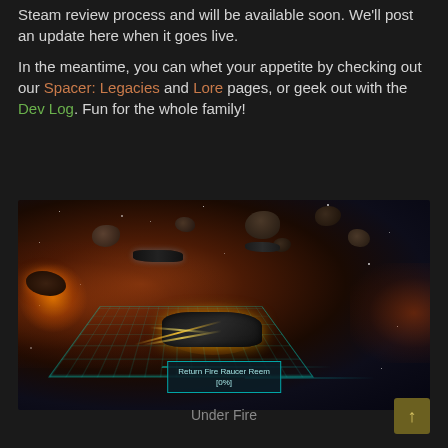Steam review process and will be available soon. We'll post an update here when it goes live.
In the meantime, you can whet your appetite by checking out our Spacer: Legacies and Lore pages, or geek out with the Dev Log. Fun for the whole family!
[Figure (screenshot): Screenshot of a space combat game showing spaceships firing lasers among asteroids with a glowing grid platform underneath the main ship. A tooltip reads 'Return Fire Raucer Reem [0%]'.]
Under Fire